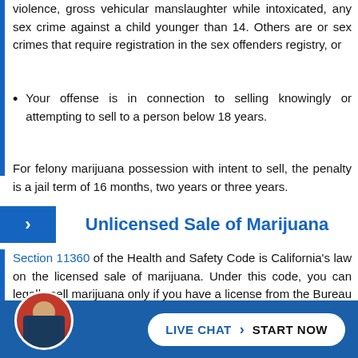violence, gross vehicular manslaughter while intoxicated, any sex crime against a child younger than 14. Others are or sex crimes that require registration in the sex offenders registry, or
Your offense is in connection to selling knowingly or attempting to sell to a person below 18 years.
For felony marijuana possession with intent to sell, the penalty is a jail term of 16 months, two years or three years.
Unlicensed Sale of Marijuana
Section 11360 of the Health and Safety Code is California's law on the licensed sale of marijuana. Under this code, you can legally sell marijuana only if you have a license from the Bureau of Marijuana Control. Without a license, you will be committing a crime if you sell or transport marijuana for sale. Under [conditions of California HS] to [...] intends